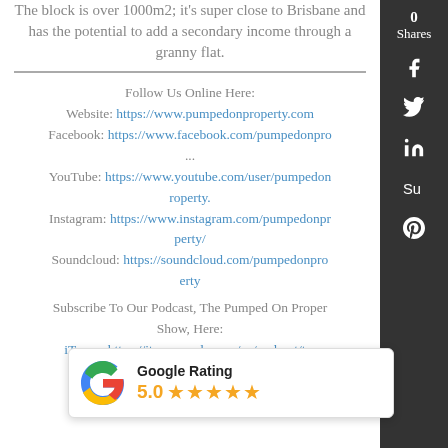The block is over 1000m2; it's super close to Brisbane and has the potential to add a secondary income through a granny flat.
Follow Us Online Here:
Website: https://www.pumpedonproperty.com
Facebook: https://www.facebook.com/pumpedonpro...
YouTube: https://www.youtube.com/user/pumpedonroperty.
Instagram: https://www.instagram.com/pumpedonproperty/
Soundcloud: https://soundcloud.com/pumpedonproerty
Subscribe To Our Podcast, The Pumped On Property Show, Here:
iTunes: https://itunes.apple.com/au/podcast/t...
https://...com/show/3mtJ85Z....
[Figure (other): Google Rating card showing 5.0 stars with the Google 'G' logo]
...nicial & Taxation Advice
The Listener, Reader or Viewer acknowledges and agrees that: